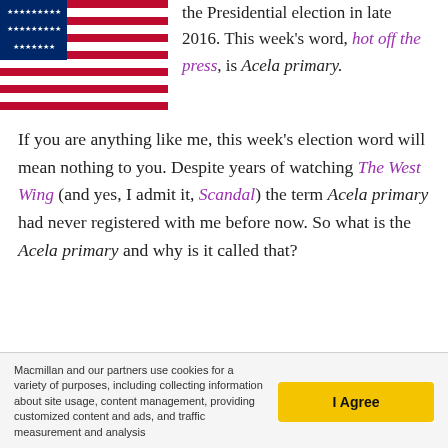[Figure (photo): Partial view of an American flag with red, white, and blue colors, stars and stripes visible]
the Presidential election in late 2016. This week's word, hot off the press, is Acela primary.
If you are anything like me, this week's election word will mean nothing to you. Despite years of watching The West Wing (and yes, I admit it, Scandal) the term Acela primary had never registered with me before now. So what is the Acela primary and why is it called that?
Macmillan and our partners use cookies for a variety of purposes, including collecting information about site usage, content management, providing customized content and ads, and traffic measurement and analysis